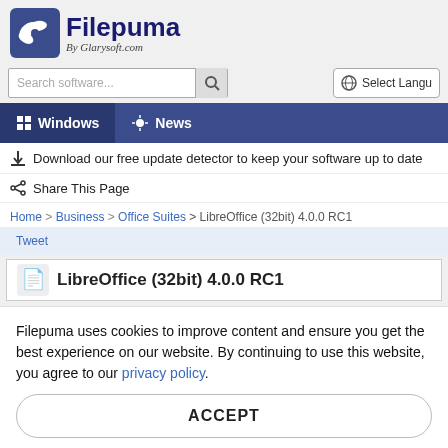[Figure (logo): Filepuma by Glarysoft.com logo with leaf/paw icon]
[Figure (screenshot): Search software input box with magnifying glass button and Select Language button]
[Figure (screenshot): Navigation bar with Windows and News items]
Download our free update detector to keep your software up to date
Share This Page
Home > Business > Office Suites > LibreOffice (32bit) 4.0.0 RC1
Tweet
LibreOffice (32bit) 4.0.0 RC1
Filepuma uses cookies to improve content and ensure you get the best experience on our website. By continuing to use this website, you agree to our privacy policy.
ACCEPT